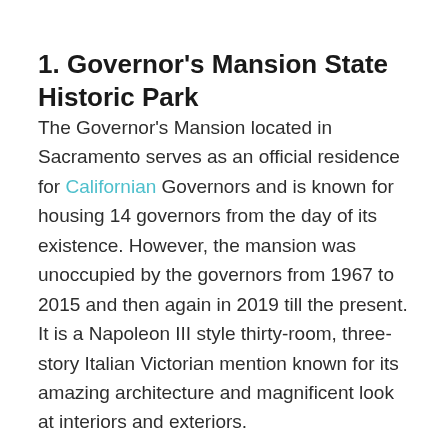1. Governor's Mansion State Historic Park
The Governor's Mansion located in Sacramento serves as an official residence for Californian Governors and is known for housing 14 governors from the day of its existence. However, the mansion was unoccupied by the governors from 1967 to 2015 and then again in 2019 till the present. It is a Napoleon III style thirty-room, three-story Italian Victorian mention known for its amazing architecture and magnificent look at interiors and exteriors.